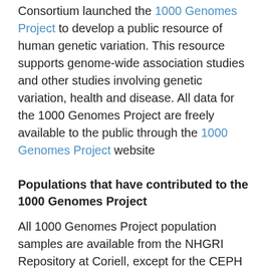Consortium launched the 1000 Genomes Project to develop a public resource of human genetic variation. This resource supports genome-wide association studies and other studies involving genetic variation, health and disease. All data for the 1000 Genomes Project are freely available to the public through the 1000 Genomes Project website
Populations that have contributed to the 1000 Genomes Project
All 1000 Genomes Project population samples are available from the NHGRI Repository at Coriell, except for the CEPH [CEU] population samples, which are available from the NIGMS Repository at Coriell (see table below). The samples have no identifying or phenotype information available. Donors gave broad consent for use of the samples, including for genotyping, sequencing, and cellular phenotype studies.
All cell culture and DNA samples can be purchased